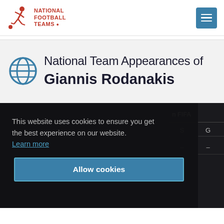National Football Teams
National Team Appearances of Giannis Rodanakis
This website uses cookies to ensure you get the best experience on our website. Learn more
Allow cookies